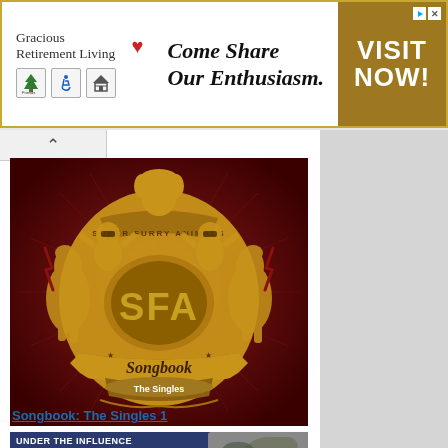[Figure (other): Advertisement banner for Gracious Retirement Living with tagline 'Come Share Our Enthusiasm' and 'VISIT NOW!' call to action button in gold/brown background]
[Figure (photo): Super Furry Animals 'Songbook: The Singles 1' album cover art on dark red background with gold heraldic crest design featuring SFA logo]
Songbook: The Singles 1
[Figure (photo): Under The Influence Super Furry Animals album cover - blue/dark background with cartoon character and orange stripe, text reads 'UNDER THE INFLUENCE SUPER FURRY ANIMALS - A COLLECTION OF MUSICAL INFLUENCES & INSPIRATIONS']